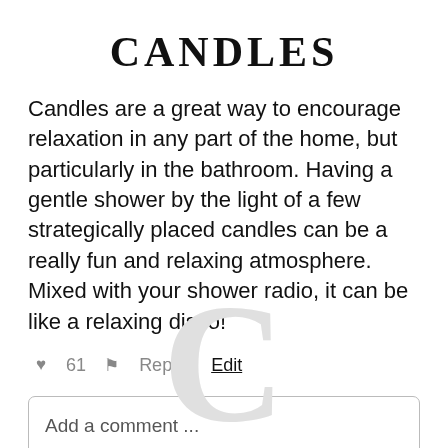CANDLES
Candles are a great way to encourage relaxation in any part of the home, but particularly in the bathroom. Having a gentle shower by the light of a few strategically placed candles can be a really fun and relaxing atmosphere. Mixed with your shower radio, it can be like a relaxing disco!
♥ 61   ⚑ Report   Edit
Add a comment ...